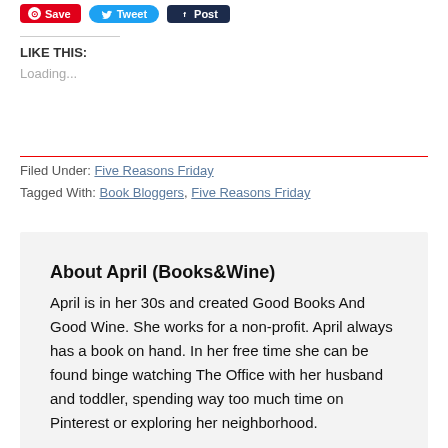[Figure (other): Social sharing buttons: Save (Pinterest, red), Tweet (Twitter, blue), Post (LinkedIn, dark navy)]
LIKE THIS:
Loading...
Filed Under: Five Reasons Friday
Tagged With: Book Bloggers, Five Reasons Friday
About April (Books&Wine)
April is in her 30s and created Good Books And Good Wine. She works for a non-profit. April always has a book on hand. In her free time she can be found binge watching The Office with her husband and toddler, spending way too much time on Pinterest or exploring her neighborhood.